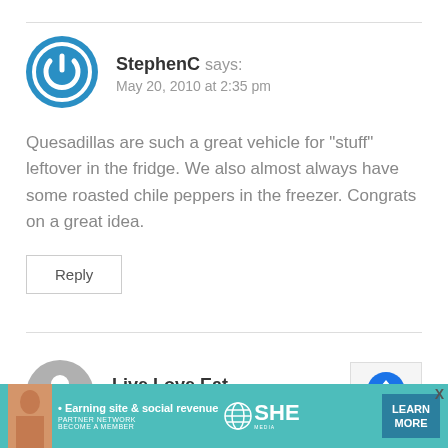[Figure (illustration): User avatar icon for StephenC — circular blue icon with a power/user symbol in white]
StephenC says:
May 20, 2010 at 2:35 pm
Quesadillas are such a great vehicle for "stuff" leftover in the fridge. We also almost always have some roasted chile peppers in the freezer. Congrats on a great idea.
Reply
[Figure (illustration): User avatar icon for Live.Love.Eat — circular grey icon with a stylized figure]
Live.Love.Eat says:
[Figure (screenshot): SHE Partner Network advertisement banner with teal background, woman photo, bullet text '• Earning site & social revenue', SHE PARTNER NETWORK BECOME A MEMBER logo, LEARN MORE button, and X close button]